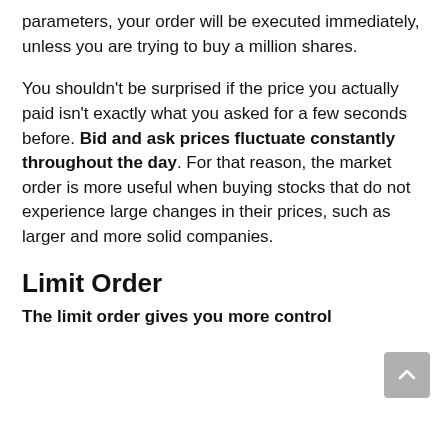parameters, your order will be executed immediately, unless you are trying to buy a million shares.
You shouldn't be surprised if the price you actually paid isn't exactly what you asked for a few seconds before. Bid and ask prices fluctuate constantly throughout the day. For that reason, the market order is more useful when buying stocks that do not experience large changes in their prices, such as larger and more solid companies.
Limit Order
The limit order gives you more control